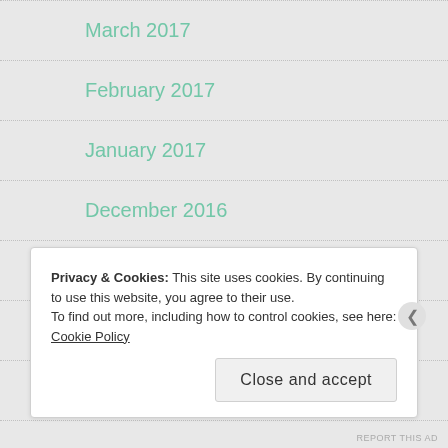March 2017
February 2017
January 2017
December 2016
September 2016
August 2016
July 2016
Privacy & Cookies: This site uses cookies. By continuing to use this website, you agree to their use.
To find out more, including how to control cookies, see here: Cookie Policy
Close and accept